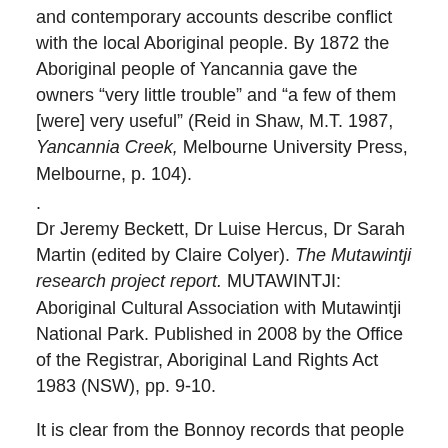and contemporary accounts describe conflict with the local Aboriginal people. By 1872 the Aboriginal people of Yancannia gave the owners “very little trouble” and “a few of them [were] very useful” (Reid in Shaw, M.T. 1987, Yancannia Creek, Melbourne University Press, Melbourne, p. 104).
.
Dr Jeremy Beckett, Dr Luise Hercus, Dr Sarah Martin (edited by Claire Colyer). The Mutawintji research project report. MUTAWINTJI: Aboriginal Cultural Association with Mutawintji National Park. Published in 2008 by the Office of the Registrar, Aboriginal Land Rights Act 1983 (NSW), pp. 9-10.
It is clear from the Bonnoy records that people moved